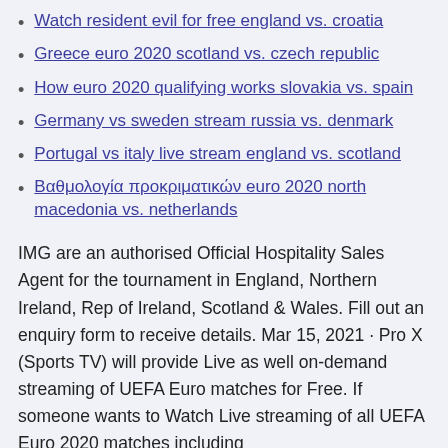Watch resident evil for free england vs. croatia
Greece euro 2020 scotland vs. czech republic
How euro 2020 qualifying works slovakia vs. spain
Germany vs sweden stream russia vs. denmark
Portugal vs italy live stream england vs. scotland
Βαθμολογία προκριματικών euro 2020 north macedonia vs. netherlands
IMG are an authorised Official Hospitality Sales Agent for the tournament in England, Northern Ireland, Rep of Ireland, Scotland & Wales. Fill out an enquiry form to receive details. Mar 15, 2021 · Pro X (Sports TV) will provide Live as well on-demand streaming of UEFA Euro matches for Free. If someone wants to Watch Live streaming of all UEFA Euro 2020 matches including